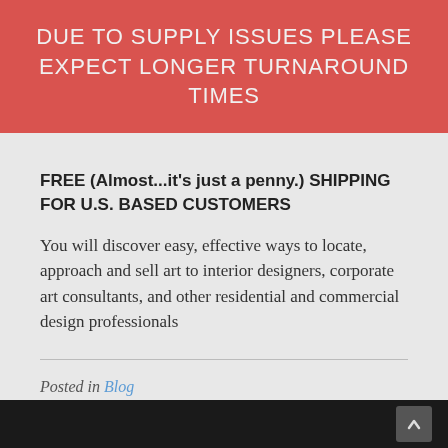DUE TO SUPPLY ISSUES PLEASE EXPECT LONGER TURNAROUND TIMES
FREE (Almost...it's just a penny.) SHIPPING FOR U.S. BASED CUSTOMERS
You will discover easy, effective ways to locate, approach and sell art to interior designers, corporate art consultants, and other residential and commercial design professionals
Posted in Blog